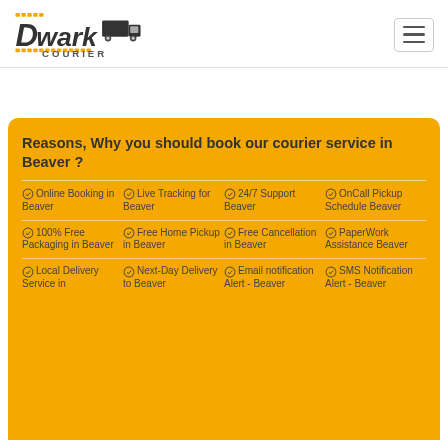[Figure (logo): Dwarka Courier logo with truck icon and yellow stripes]
Reasons, Why you should book our courier service in Beaver ?
Online Booking in Beaver
Live Tracking for Beaver
24/7 Support Beaver
OnCall Pickup Schedule Beaver
100% Free Packaging in Beaver
Free Home Pickup in Beaver
Free Cancellation in Beaver
PaperWork Assistance Beaver
Local Delivery Service in
Next-Day Delivery to Beaver
Email notification Alert - Beaver
SMS Notification Alert - Beaver